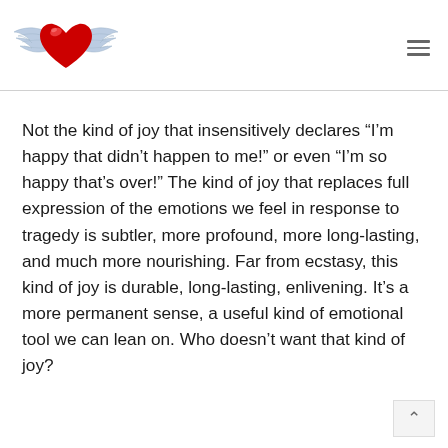[Figure (logo): Winged heart logo: a red glossy heart with blue-grey angel wings on either side]
Not the kind of joy that insensitively declares “I’m happy that didn’t happen to me!” or even “I’m so happy that’s over!” The kind of joy that replaces full expression of the emotions we feel in response to tragedy is subtler, more profound, more long-lasting, and much more nourishing. Far from ecstasy, this kind of joy is durable, long-lasting, enlivening. It’s a more permanent sense, a useful kind of emotional tool we can lean on. Who doesn’t want that kind of joy?